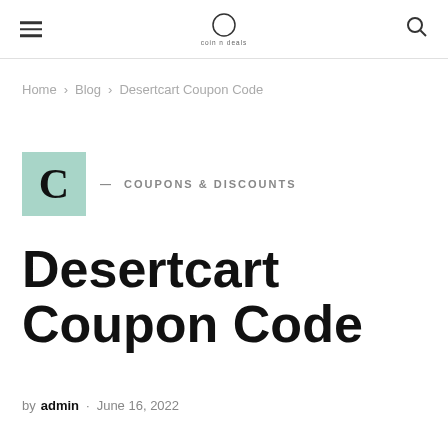coin n deals — navigation header with hamburger menu, logo, and search icon
Home › Blog › Desertcart Coupon Code
C — COUPONS & DISCOUNTS
Desertcart Coupon Code
by admin · June 16, 2022